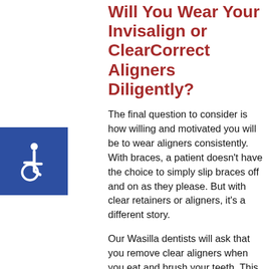Will You Wear Your Invisalign or ClearCorrect Aligners Diligently?
The final question to consider is how willing and motivated you will be to wear aligners consistently. With braces, a patient doesn't have the choice to simply slip braces off and on as they please. But with clear retainers or aligners, it's a different story.
[Figure (illustration): Accessibility wheelchair icon — white symbol on blue square background]
Our Wasilla dentists will ask that you remove clear aligners when you eat and brush your teeth. This is a convenience that persuades many individuals to choose Invisalign or ClearCorrect treatment in the first place. You won't need to avoid certain sticky or hard foods during treatment. You'll also keep teeth cleaner and free from